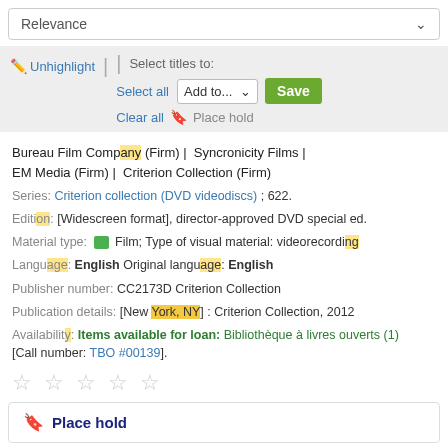Relevance
Unhighlight | Select titles to: Select all Add to... Save Clear all Place hold
Bureau Film Company (Firm) | Syncronicity Films | EM Media (Firm) | Criterion Collection (Firm)
Series: Criterion collection (DVD videodiscs) ; 622.
Edition: [Widescreen format], director-approved DVD special ed.
Material type: Film; Type of visual material: videorecording
Language: English Original language: English
Publisher number: CC2173D Criterion Collection
Publication details: [New York, NY] : Criterion Collection, 2012
Availability: Items available for loan: Bibliothèque à livres ouverts (1) [Call number: TBO #00139].
Place hold